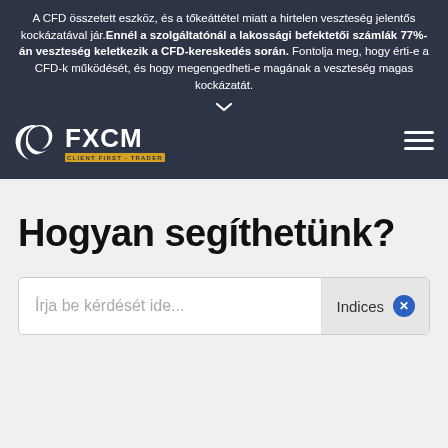A CFD összetett eszköz, és a tőkeáttétel miatt a hirtelen veszteség jelentős kockázatával jár. Ennél a szolgáltatónál a lakossági befektetői számlák 77%-án veszteség keletkezik a CFD-kereskedés során. Fontolja meg, hogy érti-e a CFD-k működését, és hogy megengedheti-e magának a veszteség magas kockázatát.
[Figure (logo): FXCM logo with swoosh icon and tagline CLIENT FIRST · TRADER DRIVEN on dark navy background, with hamburger menu icon on the right]
Hogyan segíthetünk?
Írja be kérdését ide... Indices ×